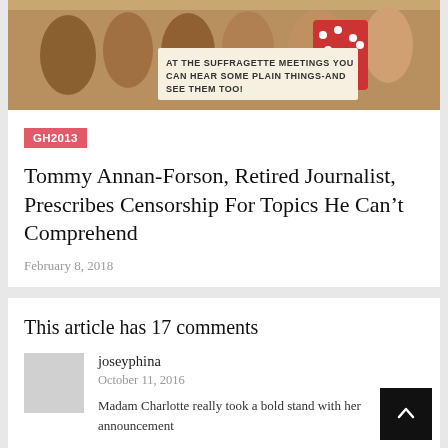[Figure (illustration): Vintage suffragette meeting illustration with text 'AT THE SUFFRAGETTE MEETINGS YOU CAN HEAR SOME PLAIN THINGS-AND SEE THEM TOO!']
GH2013
Tommy Annan-Forson, Retired Journalist, Prescribes Censorship For Topics He Can't Comprehend
February 8, 2018
This article has 17 comments
joseyphina
October 11, 2016
Madam Charlotte really took a bold stand with her announcement